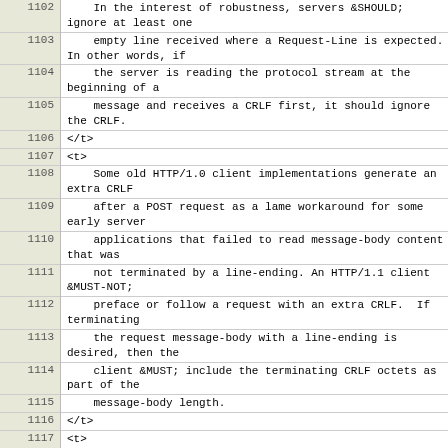| Line | Content |
| --- | --- |
| 1102 |     In the interest of robustness, servers &SHOULD;
ignore at least one |
| 1103 |     empty line received where a Request-Line is expected.
In other words, if |
| 1104 |     the server is reading the protocol stream at the
beginning of a |
| 1105 |     message and receives a CRLF first, it should ignore
the CRLF. |
| 1106 | </t> |
| 1107 | <t> |
| 1108 |     Some old HTTP/1.0 client implementations generate an
extra CRLF |
| 1109 |     after a POST request as a lame workaround for some
early server |
| 1110 |     applications that failed to read message-body content
that was |
| 1111 |     not terminated by a line-ending. An HTTP/1.1 client
&MUST-NOT; |
| 1112 |     preface or follow a request with an extra CRLF.  If
terminating |
| 1113 |     the request message-body with a line-ending is
desired, then the |
| 1114 |     client &MUST; include the terminating CRLF octets as
part of the |
| 1115 |     message-body length. |
| 1116 | </t> |
| 1117 | <t> |
| 1118 |     The normal procedure for parsing an HTTP message is
to read the |
| 1119 |     start-line into a structure, read each header field
into a hash |
| 1120 |     table by field name until the empty line, and then
use the parsed |
| 1121 |     data to determine if a message-body is expected.  If |